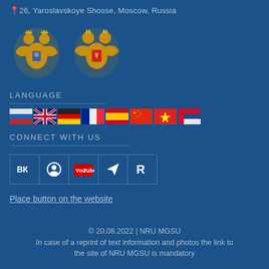📍26, Yaroslavskoye Shosse, Moscow, Russia
[Figure (illustration): Two Russian coats of arms / emblems — one with a two-headed eagle and shield, one with a two-headed eagle and St. George motif]
LANGUAGE
[Figure (illustration): Row of national flag icons: Russian, UK, German, French, Spanish, Chinese, Vietnamese, and Serbian flags]
CONNECT WITH US
[Figure (illustration): Social media icons in bordered boxes: VK, Odnoklassniki, YouTube, Telegram, Rutube]
Place button on the website
© 20.08.2022 | NRU MGSU
In case of a reprint of text information and photos the link to the site of NRU MGSU is mandatory